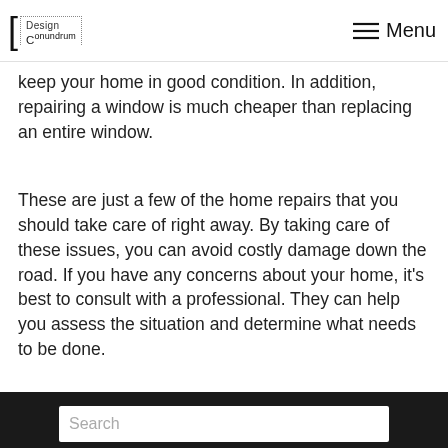Design Conundrum | Menu
keep your home in good condition. In addition, repairing a window is much cheaper than replacing an entire window.
These are just a few of the home repairs that you should take care of right away. By taking care of these issues, you can avoid costly damage down the road. If you have any concerns about your home, it's best to consult with a professional. They can help you assess the situation and determine what needs to be done.
Search